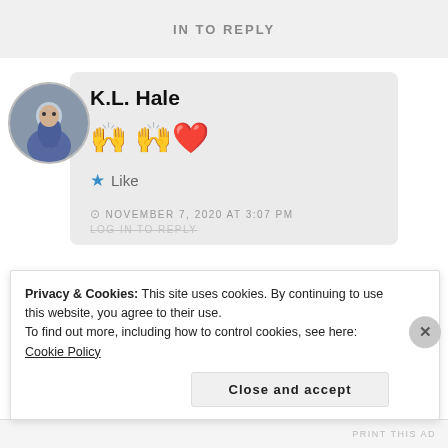IN TO REPLY
K.L. Hale
[Figure (illustration): Emoji icons: raised hands and red heart]
Like
NOVEMBER 7, 2020 AT 3:07 PM
LOG IN TO REPLY
Privacy & Cookies: This site uses cookies. By continuing to use this website, you agree to their use.
To find out more, including how to control cookies, see here: Cookie Policy
Close and accept